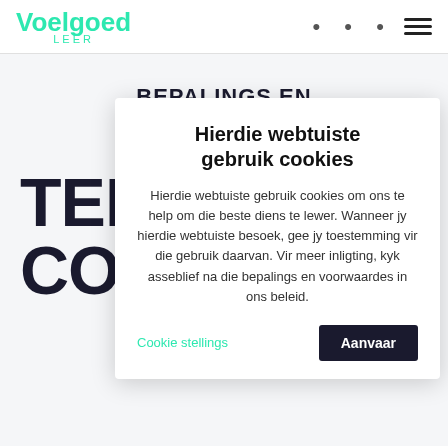Voelgoed LEER
BEPALINGS EN VOORWAARDES
Home
TERMS & CONDITIONS
These terms and conditions are the contract between you and Carpe
[Figure (screenshot): Cookie consent modal dialog with title 'Hierdie webtuiste gebruik cookies', body text explaining cookie usage, and two buttons: 'Cookie stellings' (green text) and 'Aanvaar' (dark button).]